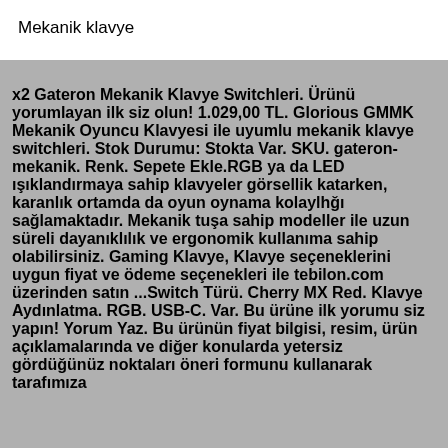Mekanik klavye
x2 Gateron Mekanik Klavye Switchleri. Ürünü yorumlayan ilk siz olun! 1.029,00 TL. Glorious GMMK Mekanik Oyuncu Klavyesi ile uyumlu mekanik klavye switchleri. Stok Durumu: Stokta Var. SKU. gateron-mekanik. Renk. Sepete Ekle.RGB ya da LED ışıklandırmaya sahip klavyeler görsellik katarken, karanlık ortamda da oyun oynama kolaylhğı sağlamaktadır. Mekanik tuşa sahip modeller ile uzun süreli dayanıklılık ve ergonomik kullanıma sahip olabilirsiniz. Gaming Klavye, Klavye seçeneklerini uygun fiyat ve ödeme seçenekleri ile tebilon.com üzerinden satın ...Switch Türü. Cherry MX Red. Klavye Aydınlatma. RGB. USB-C. Var. Bu ürüne ilk yorumu siz yapın! Yorum Yaz. Bu ürünün fiyat bilgisi, resim, ürün açıklamalarında ve diğer konularda yetersiz gördüğünüz noktaları öneri formunu kullanarak tarafımıza